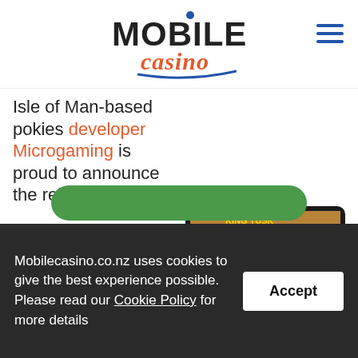Mobile Casino
Isle of Man-based pokies developer Microgaming is proud to announce the release of two more additions to its portfolio this November, in addition to its smash hit The Phantom of the Opera pokies based on the play and film of the same name.
[Figure (screenshot): Screenshot of Microgaming King Tusk slot game on a tablet and smartphone device, with Microgaming logo below.]
Mobilecasino.co.nz uses cookies to give the best experience possible. Please read our Cookie Policy for more details